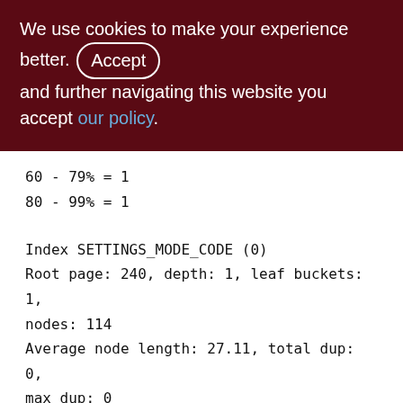We use cookies to make your experience better. By accepting and further navigating this website you accept our policy.
60 - 79% = 1
80 - 99% = 1

Index SETTINGS_MODE_CODE (0)
Root page: 240, depth: 1, leaf buckets: 1, nodes: 114
Average node length: 27.11, total dup: 0, max dup: 0
Average key length: 26.10, compression ratio: 1.70
Average prefix length: 21.18, average data length: 23.11